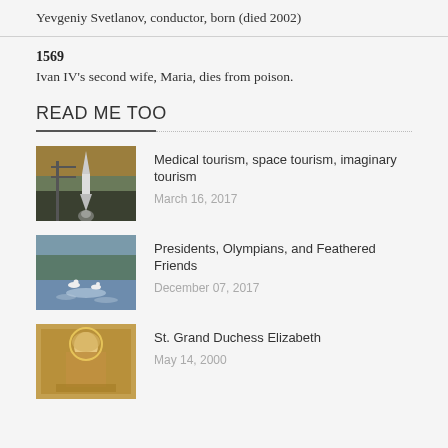Yevgeniy Svetlanov, conductor, born (died 2002)
1569
Ivan IV's second wife, Maria, dies from poison.
READ ME TOO
[Figure (photo): Rocket launch photo]
Medical tourism, space tourism, imaginary tourism
March 16, 2017
[Figure (photo): Lake with swans and reflections]
Presidents, Olympians, and Feathered Friends
December 07, 2017
[Figure (photo): Religious icon of St. Grand Duchess Elizabeth]
St. Grand Duchess Elizabeth
May 14, 2000